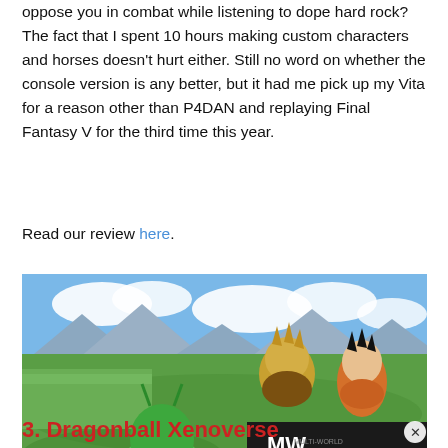oppose you in combat while listening to dope hard rock? The fact that I spent 10 hours making custom characters and horses doesn't hurt either. Still no word on whether the console version is any better, but it had me pick up my Vita for a reason other than P4DAN and replaying Final Fantasy V for the third time this year.
Read our review here.
[Figure (photo): Screenshot from Dragonball Xenoverse video game showing anime-style characters fighting in a green outdoor environment, with a video overlay showing 'PERSONA 5 ROYAL SWITCH RELEASE' advertisement with MW logo.]
3. Dragonball Xenoverse